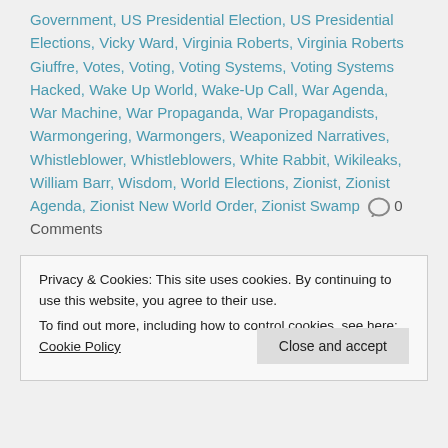Government, US Presidential Election, US Presidential Elections, Vicky Ward, Virginia Roberts, Virginia Roberts Giuffre, Votes, Voting, Voting Systems, Voting Systems Hacked, Wake Up World, Wake-Up Call, War Agenda, War Machine, War Propaganda, War Propagandists, Warmongering, Warmongers, Weaponized Narratives, Whistleblower, Whistleblowers, White Rabbit, Wikileaks, William Barr, Wisdom, World Elections, Zionist, Zionist Agenda, Zionist New World Order, Zionist Swamp  0 Comments
Privacy & Cookies: This site uses cookies. By continuing to use this website, you agree to their use. To find out more, including how to control cookies, see here: Cookie Policy
Close and accept